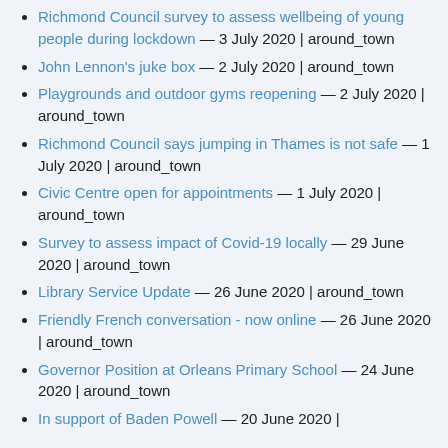Richmond Council survey to assess wellbeing of young people during lockdown — 3 July 2020 | around_town
John Lennon's juke box — 2 July 2020 | around_town
Playgrounds and outdoor gyms reopening — 2 July 2020 | around_town
Richmond Council says jumping in Thames is not safe — 1 July 2020 | around_town
Civic Centre open for appointments — 1 July 2020 | around_town
Survey to assess impact of Covid-19 locally — 29 June 2020 | around_town
Library Service Update — 26 June 2020 | around_town
Friendly French conversation - now online — 26 June 2020 | around_town
Governor Position at Orleans Primary School — 24 June 2020 | around_town
In support of Baden Powell — 20 June 2020 |